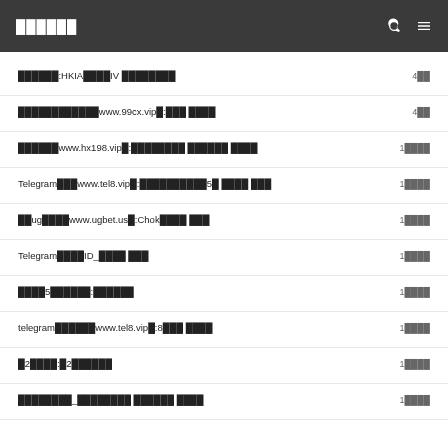██████
██████:HKIA████IV ████████
████████████www.99cx.vip█:███ ████
██████www.hx198.vip█:████████ ██████ ████
Telegram███www.tel8.vip█:██████████5█ ████ ███
██ug████www.ugbet.us█:Chok████ ███
Telegram████ID_████ ███
████5██████:██████
telegram██████www.tel8.vip█:8███ ████
█2████:█2██████
████████_████████ ██████ ████